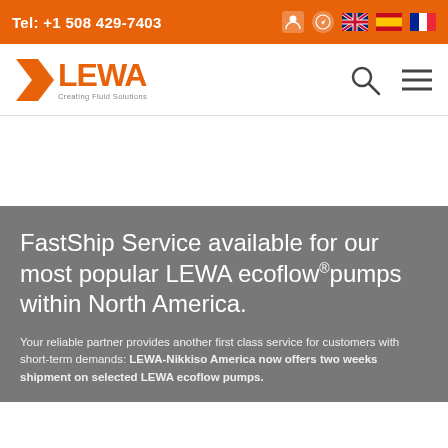Tel: +1 508 429-7403
[Figure (logo): LEWA logo with tagline 'Creating Fluid Solutions' and orange chevron/arrow design]
FastShip Service available for our most popular LEWA ecoflow® pumps within North America.
Your reliable partner provides another first class service for customers with short-term demands: LEWA-Nikkiso America now offers two weeks shipment on selected LEWA ecoflow pumps.